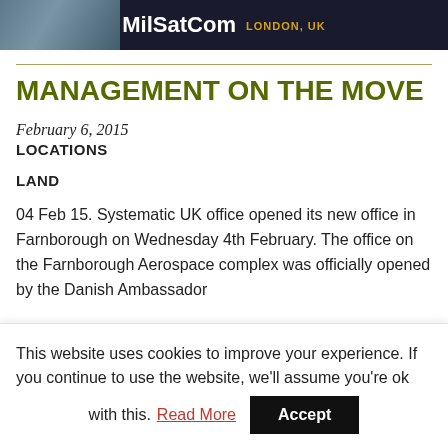[Figure (logo): MilSatCom London, UK banner with dark background and military imagery on left]
MANAGEMENT ON THE MOVE
February 6, 2015
LOCATIONS
LAND
04 Feb 15. Systematic UK office opened its new office in Farnborough on Wednesday 4th February. The office on the Farnborough Aerospace complex was officially opened by the Danish Ambassador
This website uses cookies to improve your experience. If you continue to use the website, we'll assume you're ok with this. Read More Accept